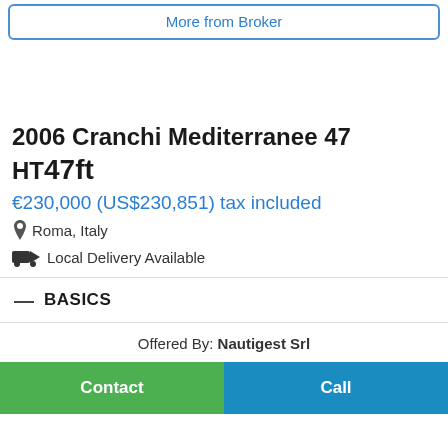More from Broker
2006 Cranchi Mediterranee 47 HT 47ft
€230,000 (US$230,851) tax included
Roma, Italy
Local Delivery Available
BASICS
Offered By: Nautigest Srl
Contact
Call